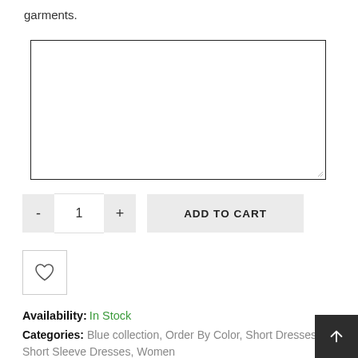garments.
[Figure (other): Empty textarea input box with resize handle at bottom right]
[Figure (other): Quantity selector with minus button, value 1, plus button, and ADD TO CART button]
[Figure (other): Wishlist heart icon button]
Availability: In Stock
Categories: Blue collection, Order By Color, Short Dresses, Short Sleeve Dresses, Women
Share: [facebook] [twitter] [pinterest] [linkedin] [reddit]